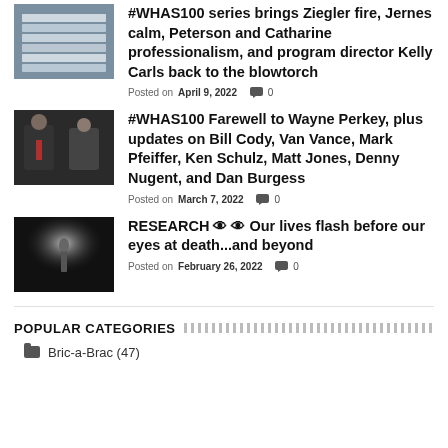[Figure (photo): Stack of papers or books, top-left thumbnail]
#WHAS100 series brings Ziegler fire, Jernes calm, Peterson and Catharine professionalism, and program director Kelly Carls back to the blowtorch
Posted on April 9, 2022   0
[Figure (photo): Two men in suits, one in dark suit with red tie]
#WHAS100 Farewell to Wayne Perkey, plus updates on Bill Cody, Van Vance, Mark Pfeiffer, Ken Schulz, Matt Jones, Denny Nugent, and Dan Burgess
Posted on March 7, 2022   0
[Figure (photo): Dark atmospheric image of a lone figure in misty light]
RESEARCH 👁 👁 Our lives flash before our eyes at death...and beyond
Posted on February 26, 2022   0
POPULAR CATEGORIES
Bric-a-Brac (47)